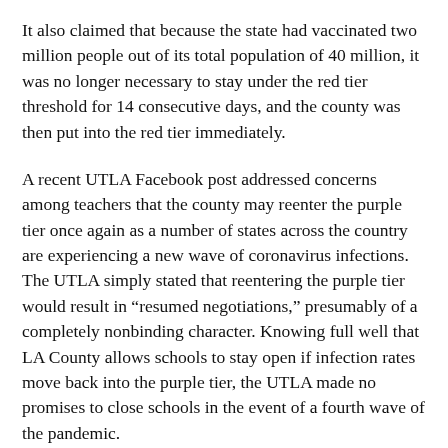It also claimed that because the state had vaccinated two million people out of its total population of 40 million, it was no longer necessary to stay under the red tier threshold for 14 consecutive days, and the county was then put into the red tier immediately.
A recent UTLA Facebook post addressed concerns among teachers that the county may reenter the purple tier once again as a number of states across the country are experiencing a new wave of coronavirus infections. The UTLA simply stated that reentering the purple tier would result in “resumed negotiations,” presumably of a completely nonbinding character. Knowing full well that LA County allows schools to stay open if infection rates move back into the purple tier, the UTLA made no promises to close schools in the event of a fourth wave of the pandemic.